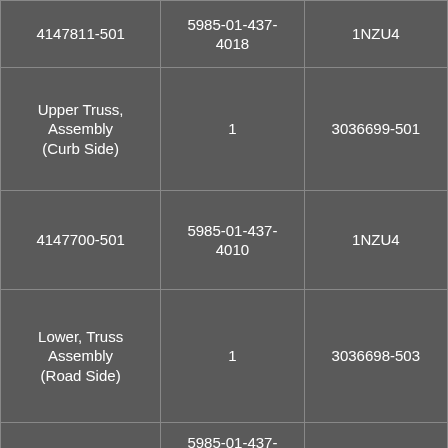| 4147811-501 | 5985-01-437-
4018 | 1NZU4 |
| Upper Truss,
Assembly
(Curb Side) | 1 | 3036699-501 |
| 4147700-501 | 5985-01-437-
4010 | 1NZU4 |
| Lower, Truss
Assembly
(Road Side) | 1 | 3036698-503 |
|  | 5985-01-437-
... |  |
CONTACT US
732-938-6900  info@centralmetalfab.com